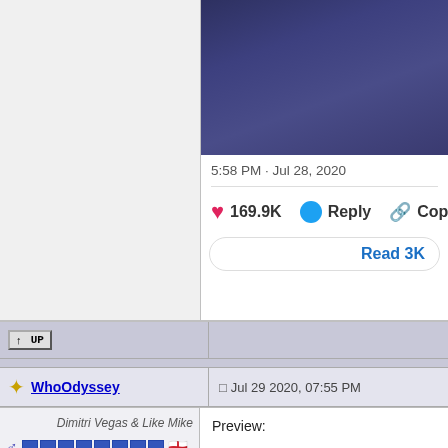[Figure (screenshot): Screenshot of a tweet showing a dark blue/purple atmospheric image, timestamp 5:58 PM · Jul 28, 2020, with 169.9K likes, Reply button, Copy button, and Read 3K button]
↑ UP
WhoOdyssey  □ Jul 29 2020, 07:55 PM
Dimitri Vegas & Like Mike
Group: Genre Mod
Posts: 22,691
Member No.: 67,771
Preview: